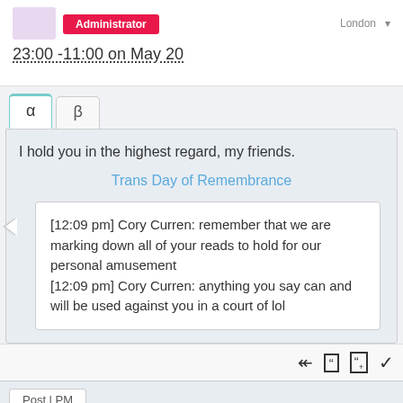[Figure (screenshot): Admin badge and avatar placeholder in top bar]
23:00 -11:00 on May 20
I hold you in the highest regard, my friends.
Trans Day of Remembrance
[12:09 pm] Cory Curren: remember that we are marking down all of your reads to hold for our personal amusement
[12:09 pm] Cory Curren: anything you say can and will be used against you in a court of lol
Post | PM